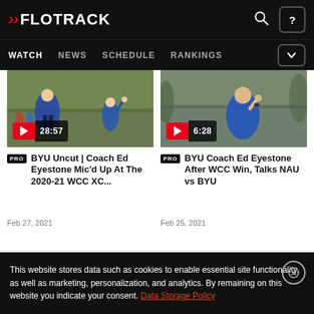FLOTRACK — WATCH NEWS SCHEDULE RANKINGS
[Figure (screenshot): Video thumbnail showing outdoor cross country scene with player in blue jersey, duration 28:57]
[Figure (screenshot): Video thumbnail showing coach in blue Nike shirt, duration 6:28]
PRO BYU Uncut | Coach Ed Eyestone Mic'd Up At The 2020-21 WCC XC...
PRO BYU Coach Ed Eyestone After WCC Win, Talks NAU vs BYU
Feb 27, 2021
Feb 25, 2021
This website stores data such as cookies to enable essential site functionality, as well as marketing, personalization, and analytics. By remaining on this website you indicate your consent. Data Storage Policy